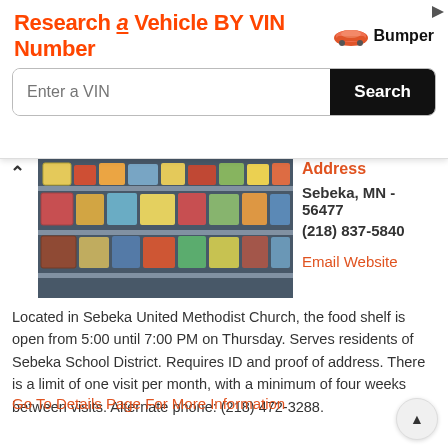[Figure (screenshot): Bumper advertisement banner: 'Research a Vehicle BY VIN Number' with a search input field and Search button]
[Figure (photo): Photo of a food shelf / grocery store freezer aisle with packaged food items on refrigerated shelves]
Address
Sebeka, MN - 56477
(218) 837-5840
Email Website
Located in Sebeka United Methodist Church, the food shelf is open from 5:00 until 7:00 PM on Thursday. Serves residents of Sebeka School District. Requires ID and proof of address. There is a limit of one visit per month, with a minimum of four weeks between visits. Alternate phone: (218) 472-3288.
Go To Details Page For More Information